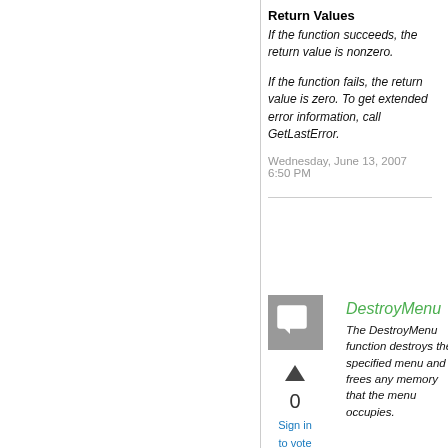Return Values
If the function succeeds, the return value is nonzero.
If the function fails, the return value is zero. To get extended error information, call GetLastError.
Wednesday, June 13, 2007 6:50 PM
[Figure (illustration): Gray square avatar icon with a chat bubble symbol inside]
0
Sign in to vote
DestroyMenu
The DestroyMenu function destroys the specified menu and frees any memory that the menu occupies.